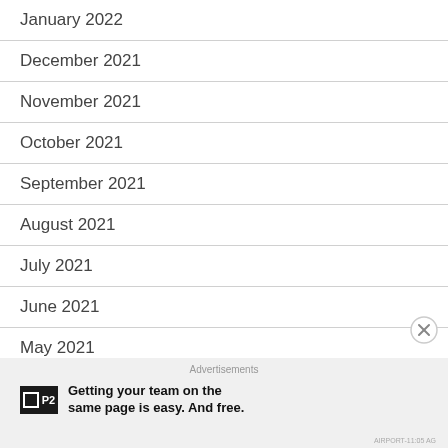January 2022
December 2021
November 2021
October 2021
September 2021
August 2021
July 2021
June 2021
May 2021
Advertisements
Getting your team on the same page is easy. And free.